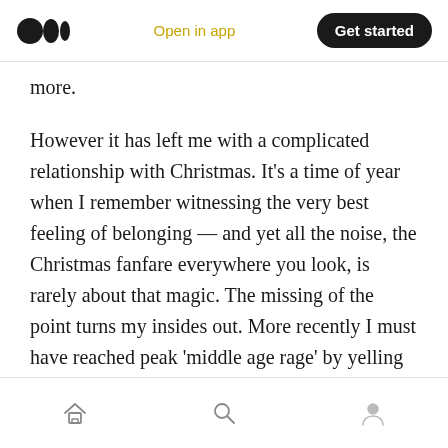Medium logo | Open in app | Get started
g … y … g more.
However it has left me with a complicated relationship with Christmas. It's a time of year when I remember witnessing the very best feeling of belonging — and yet all the noise, the Christmas fanfare everywhere you look, is rarely about that magic. The missing of the point turns my insides out. More recently I must have reached peak 'middle age rage' by yelling at the John Lewis Christmas ad.
Home | Search | Profile